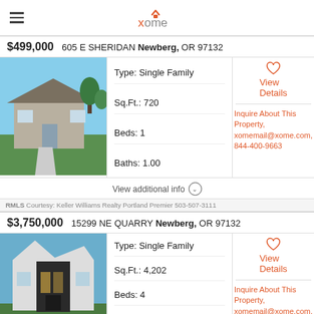xome
$499,000  605 E SHERIDAN Newberg, OR 97132
[Figure (photo): Front view of a single-family home with green lawn and concrete walkway in Newberg, OR]
Type: Single Family
Sq.Ft.: 720
Beds: 1
Baths: 1.00
View Details
Inquire About This Property, xomemail@xome.com, 844-400-9663
View additional info
RMLS Courtesy: Keller Williams Realty Portland Premier 503-507-3111
$3,750,000  15299 NE QUARRY Newberg, OR 97132
[Figure (photo): Modern single-family home with dark wood and white exterior in Newberg, OR]
Type: Single Family
Sq.Ft.: 4,202
Beds: 4
Baths: 5.00
View Details
Inquire About This Property, xomemail@xome.com, 844-400-9663